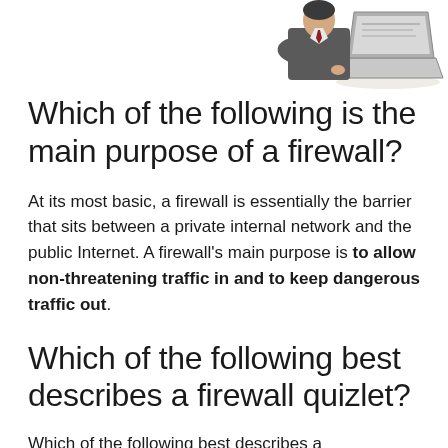[Figure (illustration): Line drawing of a person in business attire sitting at a laptop computer, viewed from the side/back]
Which of the following is the main purpose of a firewall?
At its most basic, a firewall is essentially the barrier that sits between a private internal network and the public Internet. A firewall's main purpose is to allow non-threatening traffic in and to keep dangerous traffic out.
Which of the following best describes a firewall quizlet?
Which of the following best describes a firewall? It is a combination of hardware...